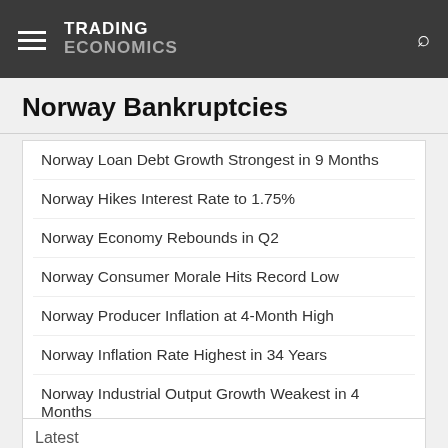TRADING ECONOMICS
Norway Bankruptcies
Norway Loan Debt Growth Strongest in 9 Months
Norway Hikes Interest Rate to 1.75%
Norway Economy Rebounds in Q2
Norway Consumer Morale Hits Record Low
Norway Producer Inflation at 4-Month High
Norway Inflation Rate Highest in 34 Years
Norway Industrial Output Growth Weakest in 4 Months
Norway Jobless Rate Stays at 9-1/2-Year Low
Norway Business Morale Falls to Near 2-Year Low
Latest